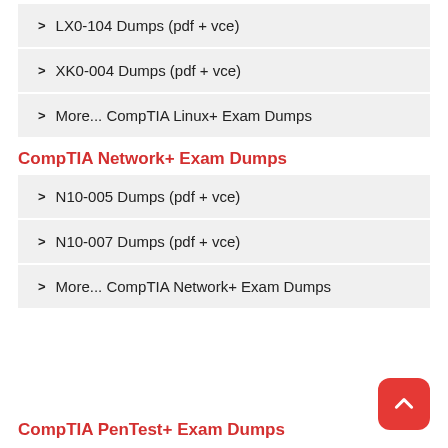LX0-104 Dumps (pdf + vce)
XK0-004 Dumps (pdf + vce)
More... CompTIA Linux+ Exam Dumps
CompTIA Network+ Exam Dumps
N10-005 Dumps (pdf + vce)
N10-007 Dumps (pdf + vce)
More... CompTIA Network+ Exam Dumps
CompTIA PenTest+ Exam Dumps